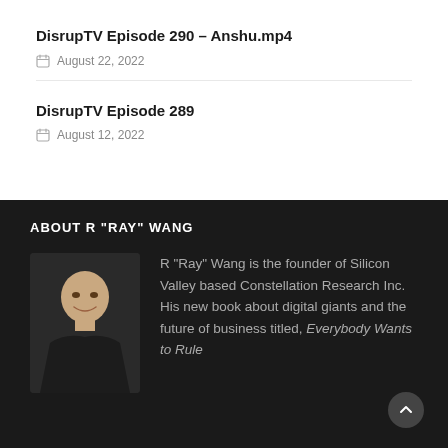DisrupTV Episode 290 - Anshu.mp4
August 22, 2022
DisrupTV Episode 289
August 12, 2022
ABOUT R "RAY" WANG
[Figure (photo): Headshot of R Ray Wang, a man in a dark suit with a blue shirt, smiling]
R "Ray" Wang is the founder of Silicon Valley based Constellation Research Inc.  His new book about digital giants and the future of business titled, Everybody Wants to Rule